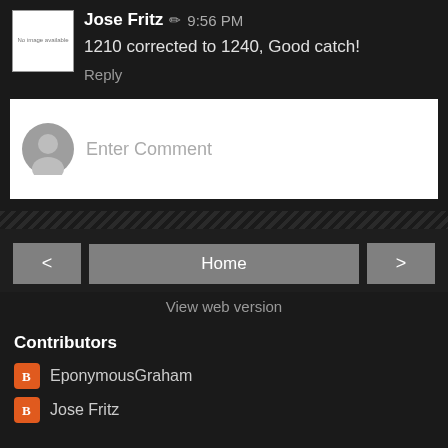Jose Fritz ✏ 9:56 PM
1210 corrected to 1240, Good catch!
Reply
[Figure (other): Comment input box with avatar and placeholder text 'Enter Comment']
[Figure (other): Navigation buttons: left arrow, Home, right arrow]
View web version
Contributors
EponymousGraham
Jose Fritz
Powered by Blogger.